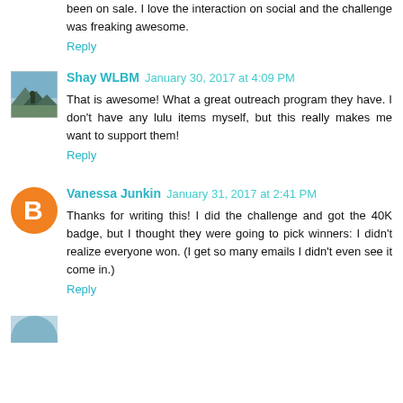been on sale. I love the interaction on social and the challenge was freaking awesome.
Reply
Shay WLBM  January 30, 2017 at 4:09 PM
That is awesome! What a great outreach program they have. I don't have any lulu items myself, but this really makes me want to support them!
Reply
Vanessa Junkin  January 31, 2017 at 2:41 PM
Thanks for writing this! I did the challenge and got the 40K badge, but I thought they were going to pick winners: I didn't realize everyone won. (I get so many emails I didn't even see it come in.)
Reply